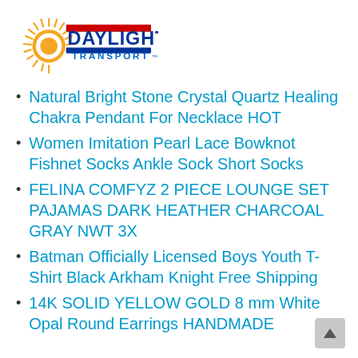[Figure (logo): Daylight Transport logo with sunburst graphic, red and blue text]
Natural Bright Stone Crystal Quartz Healing Chakra Pendant For Necklace HOT
Women Imitation Pearl Lace Bowknot Fishnet Socks Ankle Sock Short Socks
FELINA COMFYZ 2 PIECE LOUNGE SET PAJAMAS DARK HEATHER CHARCOAL GRAY NWT 3X
Batman Officially Licensed Boys Youth T-Shirt Black Arkham Knight Free Shipping
14K SOLID YELLOW GOLD 8 mm White Opal Round Earrings HANDMADE Valentine D...